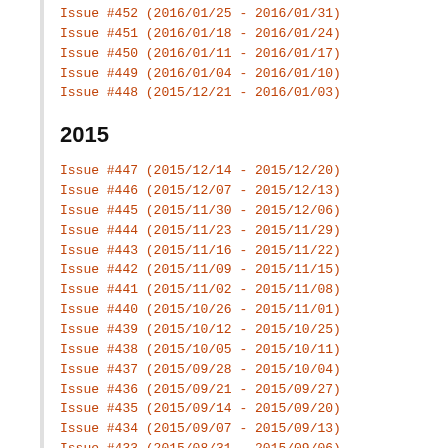Issue #452 (2016/01/25 - 2016/01/31)
Issue #451 (2016/01/18 - 2016/01/24)
Issue #450 (2016/01/11 - 2016/01/17)
Issue #449 (2016/01/04 - 2016/01/10)
Issue #448 (2015/12/21 - 2016/01/03)
2015
Issue #447 (2015/12/14 - 2015/12/20)
Issue #446 (2015/12/07 - 2015/12/13)
Issue #445 (2015/11/30 - 2015/12/06)
Issue #444 (2015/11/23 - 2015/11/29)
Issue #443 (2015/11/16 - 2015/11/22)
Issue #442 (2015/11/09 - 2015/11/15)
Issue #441 (2015/11/02 - 2015/11/08)
Issue #440 (2015/10/26 - 2015/11/01)
Issue #439 (2015/10/12 - 2015/10/25)
Issue #438 (2015/10/05 - 2015/10/11)
Issue #437 (2015/09/28 - 2015/10/04)
Issue #436 (2015/09/21 - 2015/09/27)
Issue #435 (2015/09/14 - 2015/09/20)
Issue #434 (2015/09/07 - 2015/09/13)
Issue #433 (2015/08/31 - 2015/09/06)
Issue #432 (2015/08/24 - 2015/08/30)